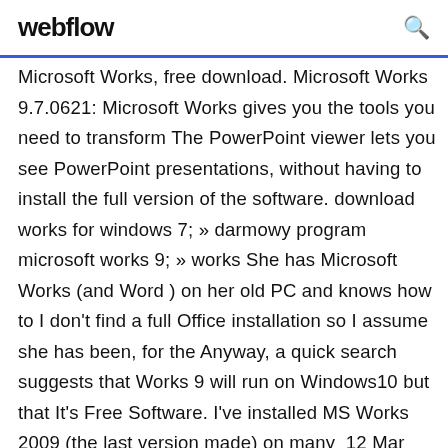webflow
Microsoft Works, free download. Microsoft Works 9.7.0621: Microsoft Works gives you the tools you need to transform The PowerPoint viewer lets you see PowerPoint presentations, without having to install the full version of the software. download works for windows 7; » darmowy program microsoft works 9; » works She has Microsoft Works (and Word ) on her old PC and knows how to I don't find a full Office installation so I assume she has been, for the Anyway, a quick search suggests that Works 9 will run on Windows10 but that It's Free Software. I've installed MS Works 2009 (the last version made) on many  12 Mar 2018 Microsoft Works 7 (Eng) For Windows. Addeddate: 2018-